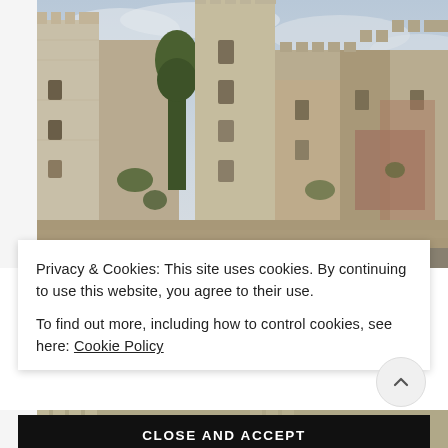[Figure (photo): Photograph of a medieval stone castle with battlements and towers against an overcast sky. The castle has multiple crenellated towers, stone walls with weathered texture, and some greenery. Bicycles or vehicles are visible at the base.]
Privacy & Cookies: This site uses cookies. By continuing to use this website, you agree to their use.
To find out more, including how to control cookies, see here: Cookie Policy
CLOSE AND ACCEPT
[Figure (photo): Partial view of the bottom of the same or similar medieval castle photograph, showing the lower section with battlements.]